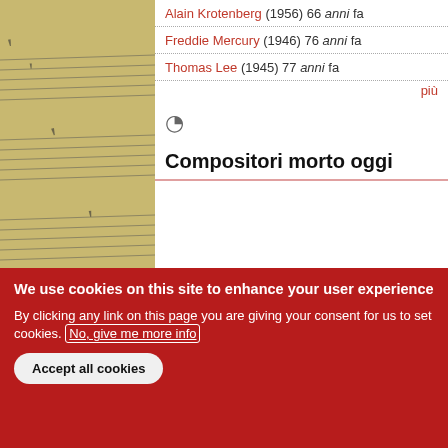Alain Krotenberg (1956) 66 anni fa
Freddie Mercury (1946) 76 anni fa
Thomas Lee (1945) 77 anni fa
più
Compositori morto oggi
Lawson Lunde (2019) 3 anni fa
Holger Czukay (2017) 5 anni fa
Gordon Binkerd (2003) 19 anni fa
Miguel Alonso Gómez (2002) 20 anni fa
Ronald Perrin (1997) 25 anni fa
We use cookies on this site to enhance your user experience
By clicking any link on this page you are giving your consent for us to set cookies. No, give me more info
Accept all cookies